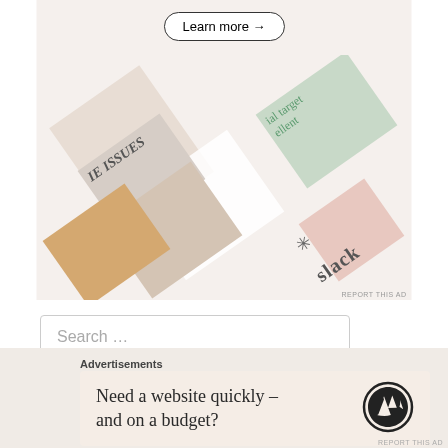[Figure (photo): Advertisement banner showing a collage of magazine covers and Slack branding, with a 'Learn more →' button at the top.]
REPORT THIS AD
Search …
Advertisements
Need a website quickly – and on a budget?
REPORT THIS AD